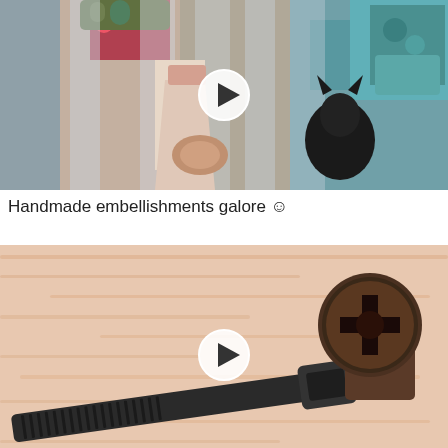[Figure (photo): A video thumbnail showing handmade embellishments - decorative craft items in clear packaging, including floral and fabric decorations, arranged in rows. A white circular play button overlay is centered on the image.]
Handmade embellishments galore ☺
[Figure (photo): A close-up video thumbnail of a black plastic cable tie/zip tie next to a dark metal screw head on a textured beige/peach surface. A white circular play button overlay is centered on the image.]